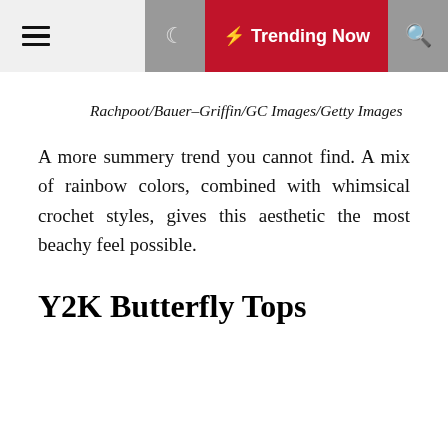☰  ☾  ⚡ Trending Now  🔍
Rachpoot/Bauer-Griffin/GC Images/Getty Images
A more summery trend you cannot find. A mix of rainbow colors, combined with whimsical crochet styles, gives this aesthetic the most beachy feel possible.
Y2K Butterfly Tops